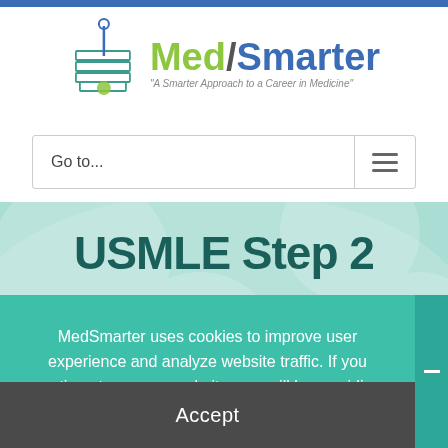[Figure (logo): MedSmarter logo with stacked books and stethoscope icon, green and blue text reading Med/Smarter with tagline 'A Smarter Approach to a Career in Medicine']
Go to...
USMLE Step 2
MedSmarter uses cookies to improve user experience and analyze website traffic. If you continue to use our website, you will be providing consent to our use of cookies.
Accept